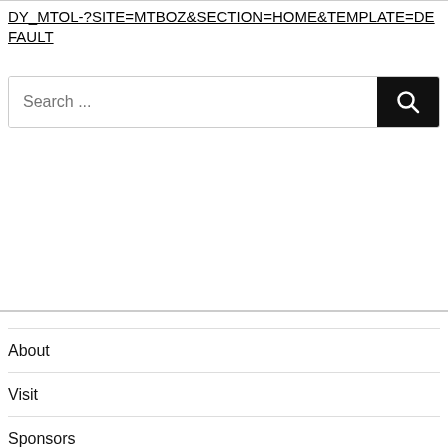DY_MTOL-?SITE=MTBOZ&SECTION=HOME&TEMPLATE=DEFAULT
[Figure (screenshot): Search input box with text 'Search ...' and a black search button with magnifying glass icon]
About
Visit
Sponsors